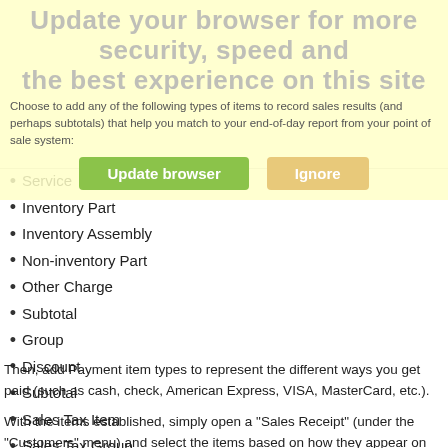[Figure (screenshot): Browser update banner overlay with large gray text 'Update your browser for more security, speed and the best experience on this site', smaller black text below, and two buttons: 'Update browser' (green) and 'Ignore' (yellow).]
Choose to add any of the following types of items to record sales results (and perhaps subtotals) that help you match to your end-of-day report from your point of sale system:
Service
Inventory Part
Inventory Assembly
Non-inventory Part
Other Charge
Subtotal
Group
Discount
Subtotal
Sales Tax Item
Sales Tax Group
Then, add Payment item types to represent the different ways you get paid (such as cash, check, American Express, VISA, MasterCard, etc.).
With the items established, simply open a "Sales Receipt" (under the "Customers" menu) and select the items based on how they appear on the z-out